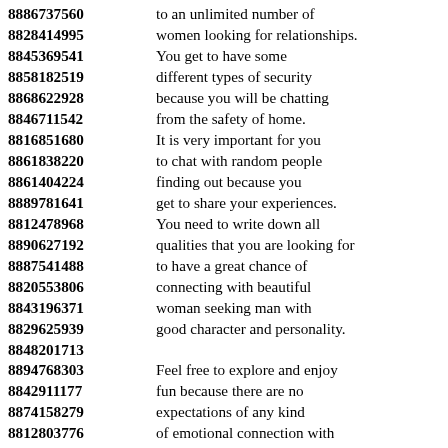8886737560 to an unlimited number of
8828414995 women looking for relationships.
8845369541 You get to have some
8858182519 different types of security
8868622928 because you will be chatting
8846711542 from the safety of home.
8816851680 It is very important for you
8861838220 to chat with random people
8861404224 finding out because you
8889781641 get to share your experiences.
8812478968 You need to write down all
8890627192 qualities that you are looking for
8887541488 to have a great chance of
8820553806 connecting with beautiful
8843196371 woman seeking man with
8829625939 good character and personality.
8848201713
8894768303 Feel free to explore and enjoy
8842911177 fun because there are no
8874158279 expectations of any kind
8812803776 of emotional connection with
8870537643 women seeking love and
8858755951 serious relationships online.
8863396556 We ask all international
8830109951 members to look out for